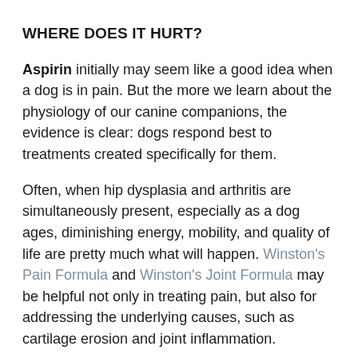WHERE DOES IT HURT?
Aspirin initially may seem like a good idea when a dog is in pain. But the more we learn about the physiology of our canine companions, the evidence is clear: dogs respond best to treatments created specifically for them.
Often, when hip dysplasia and arthritis are simultaneously present, especially as a dog ages, diminishing energy, mobility, and quality of life are pretty much what will happen. Winston’s Pain Formula and Winston’s Joint Formula may be helpful not only in treating pain, but also for addressing the underlying causes, such as cartilage erosion and joint inflammation.
Dogs are great communicators. They tell us so much about themselves by the posture and angle of their heads and bodies, their movements, their responses, and their vocalizing. But as bonded as we may feel to our canine companions, they cannot speak. And when they are in